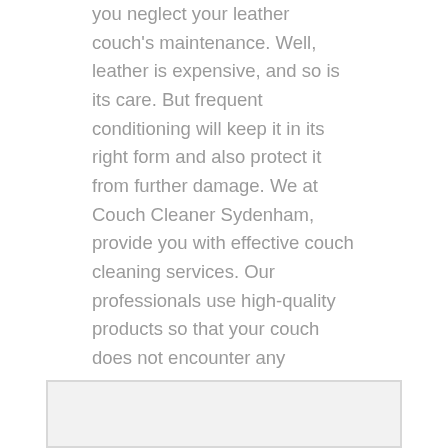you neglect your leather couch's maintenance. Well, leather is expensive, and so is its care. But frequent conditioning will keep it in its right form and also protect it from further damage. We at Couch Cleaner Sydenham, provide you with effective couch cleaning services. Our professionals use high-quality products so that your couch does not encounter any unnecessary harm or stains. Call us today for conditioning services at a reasonable price. We make sure to provide you with the best services to extend your upholstery for a more extended period.
[Figure (other): Partial image visible at the bottom of the page, appears to be a framed photo or illustration with white/light gray background]